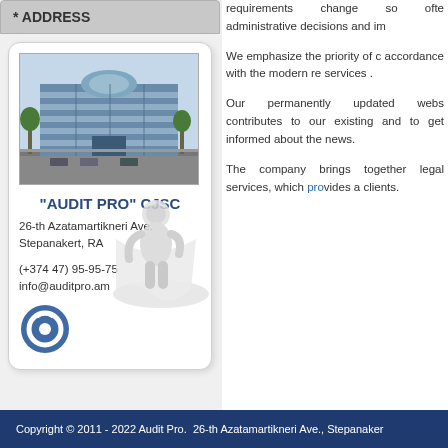* ADDRESS
[Figure (photo): Photo of a modern office building with glass facade and dome roof, Audit Pro CJSC building in Stepanakert]
"AUDIT PRO" CJSC
26-th Azatamartikneri Ave.
Stepanakert, RA
(+374 47) 95-95-75
info@auditpro.am
[Figure (logo): Audit Pro circular logo mark in blue]
requirements change so often, administrative decisions and im
We emphasize the priority of accordance with the modern r services .
Our permanently updated webs contributes to our existing and to get informed about the news
The company brings together legal services, which provides clients.
Copyright © 2011 - 2022 Audit Pro.  26-th Azatamartikneri Ave., Stepanaker